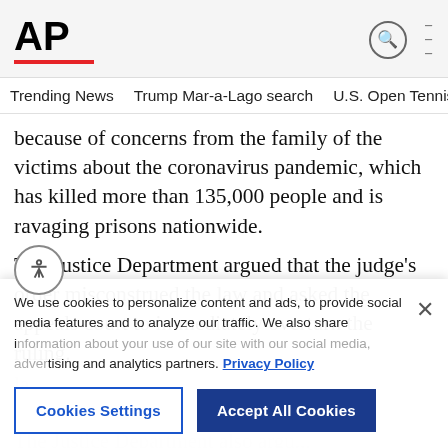AP
Trending News   Trump Mar-a-Lago search   U.S. Open Tennis
because of concerns from the family of the victims about the coronavirus pandemic, which has killed more than 135,000 people and is ravaging prisons nationwide.
The Justice Department argued that the judge’s order misconstrued the law and asked the appeals court to immediately overturn the ruling.
We use cookies to personalize content and ads, to provide social media features and to analyze our traffic. We also share information about your use of our site with our social media, advertising and analytics partners. Privacy Policy
Cookies Settings   Accept All Cookies